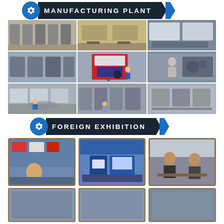MANUFACTURING PLANT
[Figure (photo): 9-panel photo grid showing manufacturing plant facilities including machinery, production lines, CNC machines, quality measurement equipment, and factory floor operations]
FOREIGN EXHIBITION
[Figure (photo): Row of 3 framed exhibition photos showing trade show booths and business meetings with decorative brown borders]
[Figure (photo): Partial row of 3 more framed exhibition photos at bottom of page]